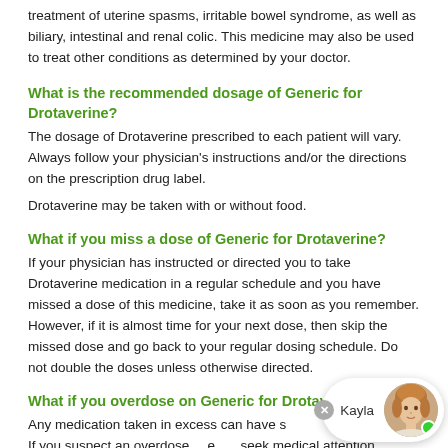treatment of uterine spasms, irritable bowel syndrome, as well as biliary, intestinal and renal colic. This medicine may also be used to treat other conditions as determined by your doctor.
What is the recommended dosage of Generic for Drotaverine?
The dosage of Drotaverine prescribed to each patient will vary. Always follow your physician's instructions and/or the directions on the prescription drug label.
Drotaverine may be taken with or without food.
What if you miss a dose of Generic for Drotaverine?
If your physician has instructed or directed you to take Drotaverine medication in a regular schedule and you have missed a dose of this medicine, take it as soon as you remember. However, if it is almost time for your next dose, then skip the missed dose and go back to your regular dosing schedule. Do not double the doses unless otherwise directed.
What if you overdose on Generic for Drotaverine?
Any medication taken in excess can have serious consequences. If you suspect an overdose, please seek medical attention immediately.